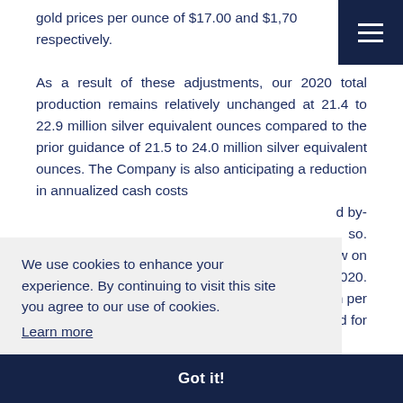gold prices per ounce of $17.00 and $1,70 respectively.
As a result of these adjustments, our 2020 total production remains relatively unchanged at 21.4 to 22.9 million silver equivalent ounces compared to the prior guidance of 21.5 to 24.0 million silver equivalent ounces. The Company is also anticipating a reduction in annualized cash costs d by- so. ow on 2020. n per d for calculating silver equivalent ounces are: silver:
We use cookies to enhance your experience. By continuing to visit this site you agree to our use of cookies. Learn more
Got it!